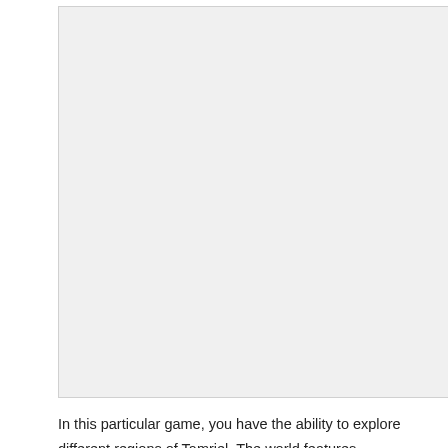[Figure (photo): A light gray placeholder image area at the top of the page.]
In this particular game, you have the ability to explore different regions of Tamriel. The world features landscapes from previous games in the series and includes new areas like Summerset Isle. One unique feature that sets ESO apart, though, is its three alliances.
In the game, you can choose from being a member